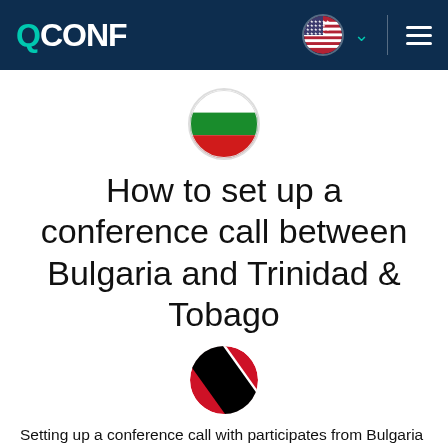QCONF
[Figure (illustration): Bulgarian flag rendered as a circular icon with white, green, and red horizontal stripes, with a light grey border]
How to set up a conference call between Bulgaria and Trinidad & Tobago
[Figure (illustration): Trinidad and Tobago flag rendered as a circular icon — red background with a black diagonal stripe edged in white]
Setting up a conference call with participates from Bulgaria and Trinidad & Tobago can be a headache; you have to find a time that is suitable to the conferencing participants. Consider any time difference, look for local